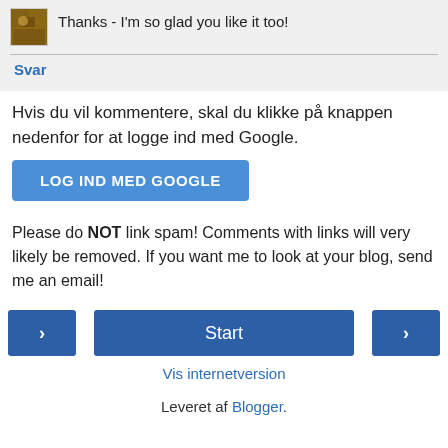Thanks - I'm so glad you like it too!
Svar
Hvis du vil kommentere, skal du klikke på knappen nedenfor for at logge ind med Google.
LOG IND MED GOOGLE
Please do NOT link spam! Comments with links will very likely be removed. If you want me to look at your blog, send me an email!
‹  Start  ›
Vis internetversion
Leveret af Blogger.